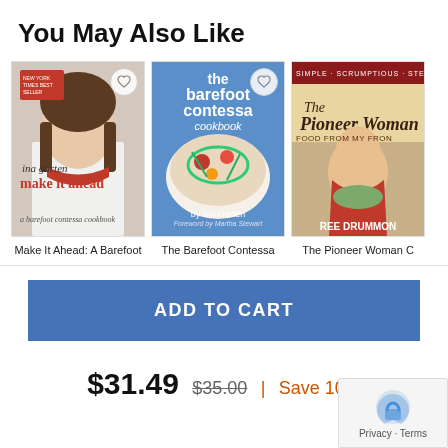You May Also Like
[Figure (illustration): Book cover: Ina Garten Make It Ahead: A Barefoot Contessa Cookbook]
[Figure (illustration): Book cover: The Barefoot Contessa Cookbook by Ina Garten]
[Figure (illustration): Book cover: The Pioneer Woman Cooks (partial, cut off on right)]
Make It Ahead: A Barefoot
The Barefoot Contessa
The Pioneer Woman C
ADD TO CART
$31.49  $35.00  |  Save 10%